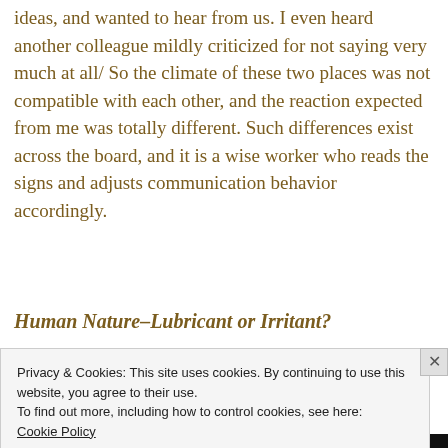ideas, and wanted to hear from us.  I even heard another colleague mildly criticized for not saying very much at all/  So the climate of these two places was not compatible with each other, and the reaction expected from me was totally different.  Such differences exist across the board, and it is a wise worker who reads the signs and adjusts communication behavior accordingly.
Human Nature–Lubricant or Irritant?
Privacy & Cookies: This site uses cookies. By continuing to use this website, you agree to their use.
To find out more, including how to control cookies, see here: Cookie Policy